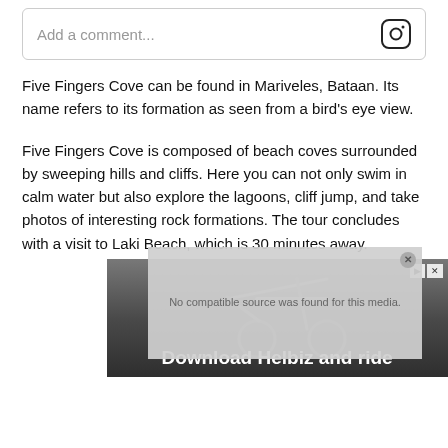[Figure (screenshot): Comment input box with Instagram icon on the right]
Five Fingers Cove can be found in Mariveles, Bataan. Its name refers to its formation as seen from a bird's eye view.
Five Fingers Cove is composed of beach coves surrounded by sweeping hills and cliffs. Here you can not only swim in calm water but also explore the lagoons, cliff jump, and take photos of interesting rock formations. The tour concludes with a visit to Laki Beach, which is 30 minutes away.
[Figure (screenshot): Video player overlay showing 'No compatible source was found for this media.' with a grey overlay, and below it an advertisement banner showing 'Download Helbiz and ride' over a scooter background image]